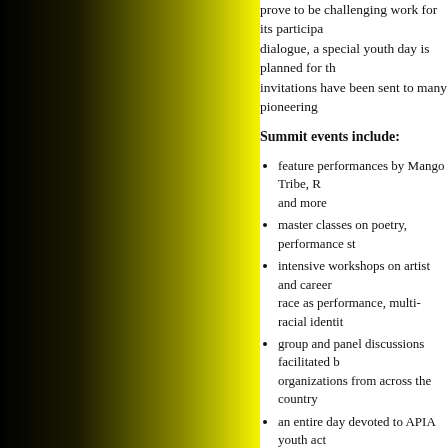prove to be challenging work for its participants. To facilitate dialogue, a special youth day is planned for the Summit. invitations have been sent to many pioneering
Summit events include:
feature performances by Mango Tribe, R… and more
master classes on poetry, performance st…
intensive workshops on artist and career… race as performance, multi-racial identit…
group and panel discussions facilitated b… organizations from across the country
an entire day devoted to APIA youth act… performance and writing primers, and yo… with Power (Chicago), GenerAsian Nex…
a showcase highlighting work from all p…
a series of round-table discussions and "… the state of Asian America as it pertains… conscience in the community
As in 2001, the Summit will precede the Natio… 2002, in Chicago. Participants are encourage…